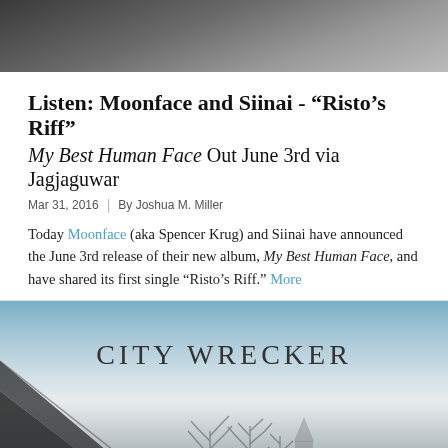[Figure (photo): Black and white photo of two people, cropped at top of page]
Listen: Moonface and Siinai - “Risto’s Riff” My Best Human Face Out June 3rd via Jagjaguwar
Mar 31, 2016  |  By Joshua M. Miller
Today Moonface (aka Spencer Krug) and Siinai have announced the June 3rd release of their new album, My Best Human Face, and have shared its first single “Risto’s Riff.” More
[Figure (photo): Album art or promotional image with text CITY WRECKER and a winter landscape with bare trees and a building silhouette]